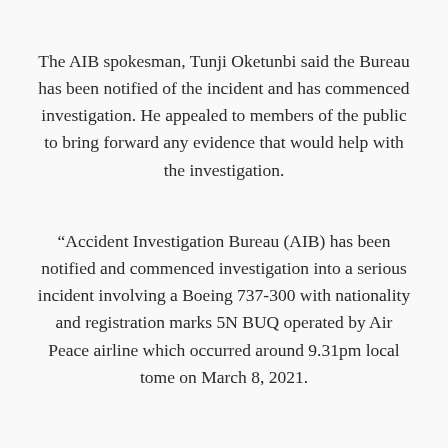The AIB spokesman, Tunji Oketunbi said the Bureau has been notified of the incident and has commenced investigation. He appealed to members of the public to bring forward any evidence that would help with the investigation.
“Accident Investigation Bureau (AIB) has been notified and commenced investigation into a serious incident involving a Boeing 737-300 with nationality and registration marks 5N BUQ operated by Air Peace airline which occurred around 9.31pm local tome on March 8, 2021.